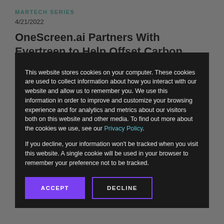MARTECH SERIES
4/21/2022
OneScreen.ai Partners With Evertreen to Help Offset Carbon Footprint in Outdoor Advertising
Read now
OOH TO...
4/20/20...
Study Says 92% of Marketers Plan to Boost... 22
Read no...
MARTECH 360
[Figure (screenshot): Cookie consent modal overlay on a martech news website. Dark semi-transparent overlay covers background article content. Modal has dark background with white text explaining cookie usage policy, a Privacy Policy link in teal/blue, two paragraphs of text, and two buttons: ACCEPT (purple filled) and DECLINE (purple outline).]